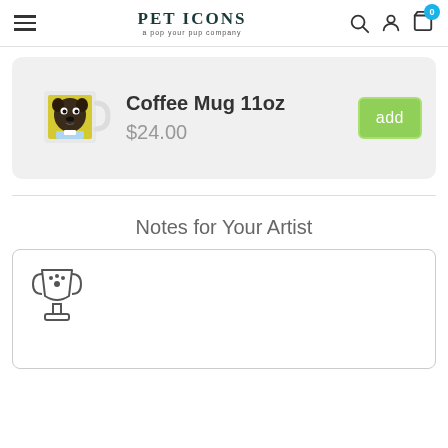PET ICONS – a pop your pup company
[Figure (screenshot): Product card showing a coffee mug with a pug illustration]
Coffee Mug 11oz
$24.00
Notes for Your Artist
[Figure (illustration): Trophy icon with paw print inside a text input box]